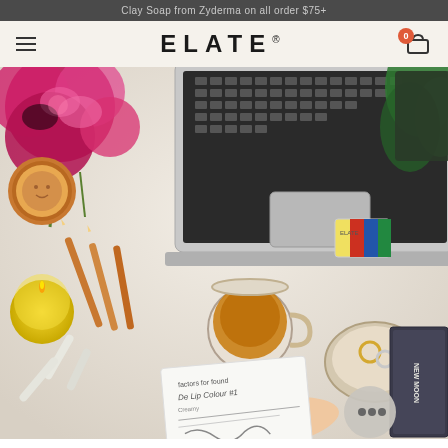Clay Soap from Zyderma on all order $75+
[Figure (logo): ELATE brand logo in large bold uppercase letters with hamburger menu icon on left and shopping cart icon with 0 badge on right, on a light cream background]
[Figure (photo): Flatlay lifestyle photo of a desk scene featuring: open MacBook laptop, pink peony flowers, colored pencils scattered, yellow candle, cup of tea, Elate cosmetic compact and color card, a hand holding a notepad with writing, a tray with rings, a New Moon book, and a chat bubble icon in bottom right corner]